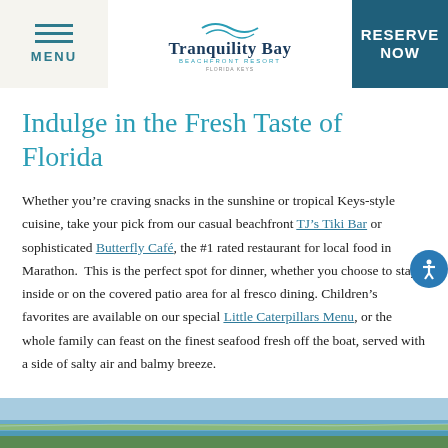MENU | Tranquility Bay Beachfront Resort | RESERVE NOW
Indulge in the Fresh Taste of Florida
Whether you’re craving snacks in the sunshine or tropical Keys-style cuisine, take your pick from our casual beachfront TJ’s Tiki Bar or sophisticated Butterfly Café, the #1 rated restaurant for local food in Marathon. This is the perfect spot for dinner, whether you choose to stay inside or on the covered patio area for al fresco dining. Children’s favorites are available on our special Little Caterpillars Menu, or the whole family can feast on the finest seafood fresh off the boat, served with a side of salty air and balmy breeze.
[Figure (photo): Aerial or waterfront view of Florida Keys coastal area with water and land visible]